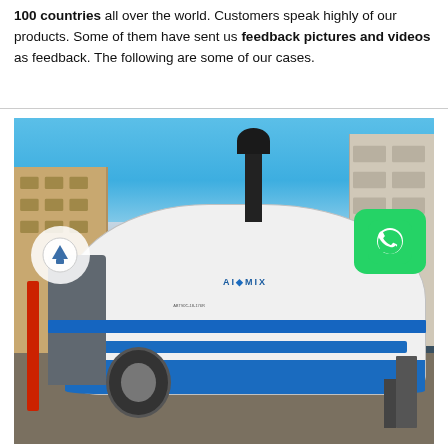100 countries all over the world. Customers speak highly of our products. Some of them have sent us feedback pictures and videos as feedback. The following are some of our cases.
[Figure (photo): A white AIMIX brand concrete pump truck (model ABT90C-18-176R) photographed outdoors in a yard with industrial buildings in the background. The machine has blue stripes and branding, a large cylindrical body on a wheeled trailer chassis, with a red pipe on the left and an exhaust stack on top. A circular arrow (scroll-to-top) button overlay is in the lower-left and a WhatsApp icon in the upper-right.]